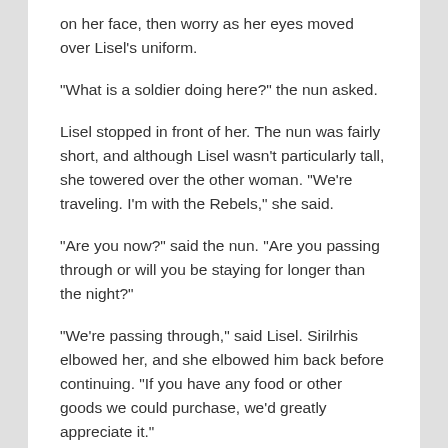on her face, then worry as her eyes moved over Lisel’s uniform.
“What is a soldier doing here?” the nun asked.
Lisel stopped in front of her. The nun was fairly short, and although Lisel wasn’t particularly tall, she towered over the other woman. “We’re traveling. I’m with the Rebels,” she said.
“Are you now?” said the nun. “Are you passing through or will you be staying for longer than the night?”
“We’re passing through,” said Lisel. Sirilrhis elbowed her, and she elbowed him back before continuing. “If you have any food or other goods we could purchase, we’d greatly appreciate it.”